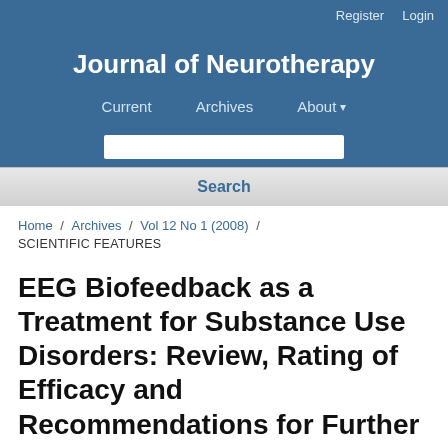Register   Login
Journal of Neurotherapy
Current   Archives   About
Search
Home / Archives / Vol 12 No 1 (2008) / SCIENTIFIC FEATURES
EEG Biofeedback as a Treatment for Substance Use Disorders: Review, Rating of Efficacy and Recommendations for Further